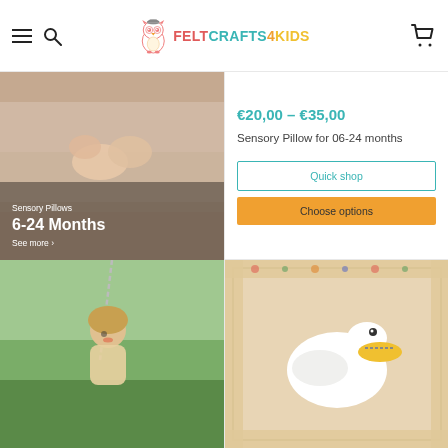FELTCRAFTS4KIDS
[Figure (photo): Baby hands on white fabric with text overlay: Sensory Pillows, 6-24 Months, See more]
€20,00 – €35,00
Sensory Pillow for 06-24 months
Quick shop
Choose options
[Figure (photo): Young child on a swing outdoors]
[Figure (photo): Felt bird craft on fabric with floral border]